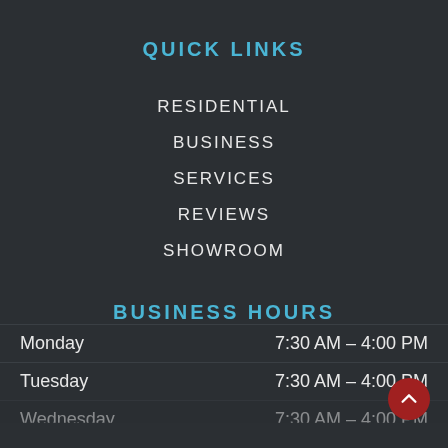QUICK LINKS
RESIDENTIAL
BUSINESS
SERVICES
REVIEWS
SHOWROOM
BUSINESS HOURS
| Day | Hours |
| --- | --- |
| Monday | 7:30 AM – 4:00 PM |
| Tuesday | 7:30 AM – 4:00 PM |
| Wednesday | 7:30 AM – 4:00 PM |